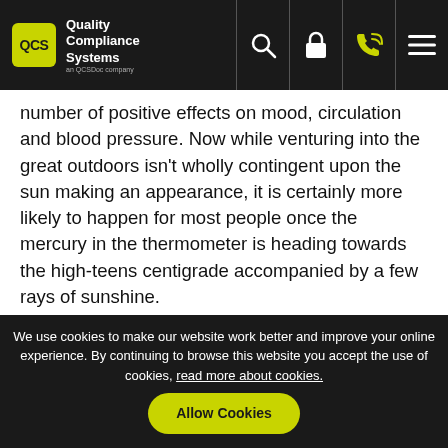QCS Quality Compliance Systems
number of positive effects on mood, circulation and blood pressure. Now while venturing into the great outdoors isn't wholly contingent upon the sun making an appearance, it is certainly more likely to happen for most people once the mercury in the thermometer is heading towards the high-teens centigrade accompanied by a few rays of sunshine.
Benefits
The beneficial effect that sunlight has on vitamin D production has widespread effects.  Vitamin D promotes bone growth and encourages the uptake of calcium for
We use cookies to make our website work better and improve your online experience. By continuing to browse this website you accept the use of cookies, read more about cookies. Allow Cookies